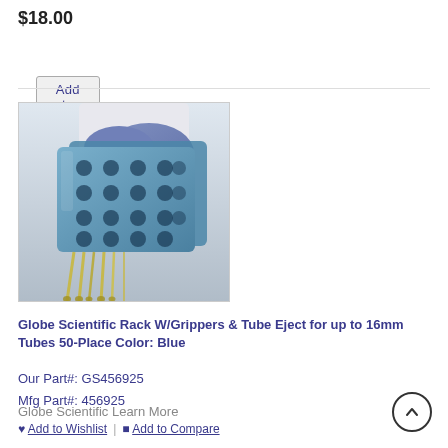$18.00
Add to Cart
[Figure (photo): A gloved hand holding a blue laboratory tube rack with grippers, tubes hanging from the bottom filled with yellow/clear liquid.]
Globe Scientific Rack W/Grippers & Tube Eject for up to 16mm Tubes 50-Place Color: Blue
Our Part#: GS456925
Mfg Part#: 456925
Globe Scientific Learn More
Add to Wishlist  |  Add to Compare